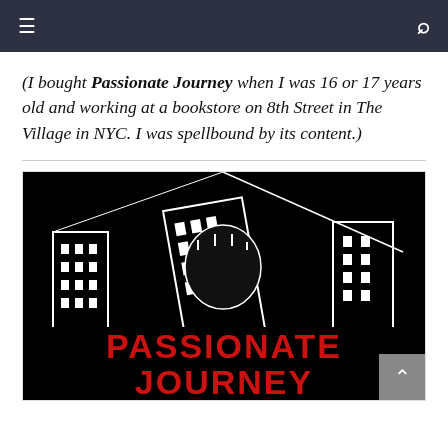Navigation bar with hamburger menu and search icon
(I bought Passionate Journey when I was 16 or 17 years old and working at a bookstore on 8th Street in The Village in NYC. I was spellbound by its content.)
[Figure (illustration): Book cover of 'Passionate Journey' — black background with white line-art illustration of city buildings/skyscrapers tilting and overlapping, with bold red block-letter text reading 'PASSIONATE JOURNEY' at the bottom, and partial text 'REEL' visible on the left side.]